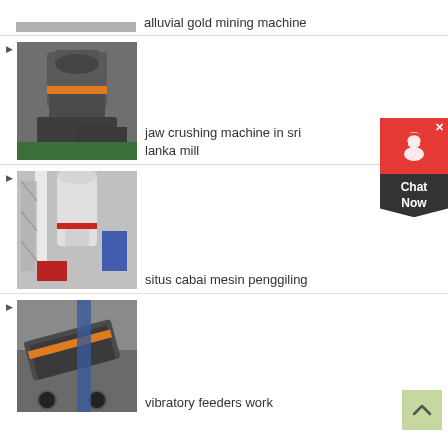[Figure (photo): alluvial gold mining machine photo (partial, top cropped)]
alluvial gold mining machine
[Figure (photo): jaw crushing machine photo - large industrial crusher in a factory]
jaw crushing machine in sri lanka mill
[Figure (photo): situs cabai mesin penggiling - industrial grinding mill machine]
situs cabai mesin penggiling
[Figure (photo): vibratory feeders work - industrial vibrating feeder machine in factory]
vibratory feeders work